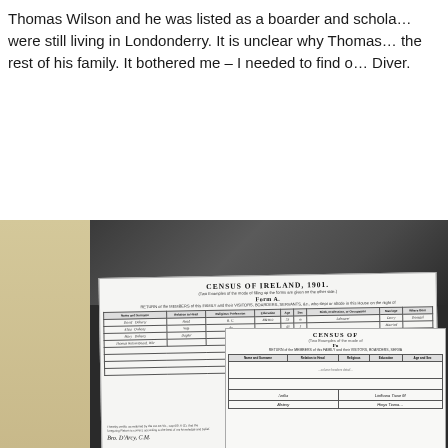Thomas Wilson and he was listed as a boarder and schola… were still living in Londonderry. It is unclear why Thomas… the rest of his family. It bothered me – I needed to find o… Diver.
[Figure (photo): Photograph of two overlapping Census of Ireland 1901 Form A documents showing handwritten entries for the Doherty family and Thomas Wilson, with a map background visible in the upper portion.]